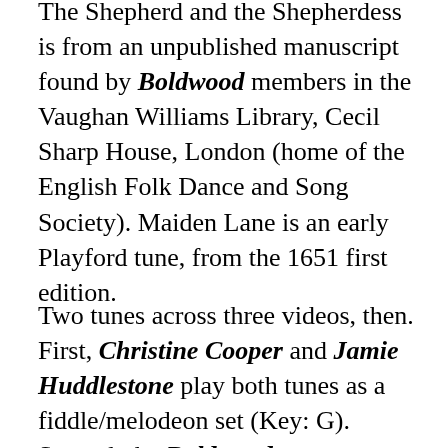The Shepherd and the Shepherdess is from an unpublished manuscript found by Boldwood members in the Vaughan Williams Library, Cecil Sharp House, London (home of the English Folk Dance and Song Society). Maiden Lane is an early Playford tune, from the 1651 first edition.
Two tunes across three videos, then. First, Christine Cooper and Jamie Huddlestone play both tunes as a fiddle/melodeon set (Key: G). Second, the Boldwood string/accordion quartet play Maiden Lane with a different flavour (G). And we finish with fiddler Laurel Swift's slow